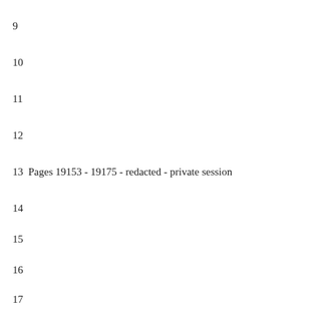9
10
11
12
13  Pages 19153 - 19175 - redacted - private session
14
15
16
17